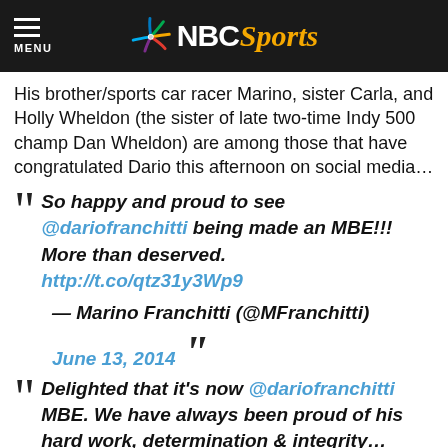NBC Sports
His brother/sports car racer Marino, sister Carla, and Holly Wheldon (the sister of late two-time Indy 500 champ Dan Wheldon) are among those that have congratulated Dario this afternoon on social media…
"So happy and proud to see @dariofranchitti being made an MBE!!! More than deserved. http://t.co/qtz31y3Wp9 — Marino Franchitti (@MFranchitti) June 13, 2014"
"Delighted that it's now @dariofranchitti MBE. We have always been proud of his hard work, determination & integrity…"